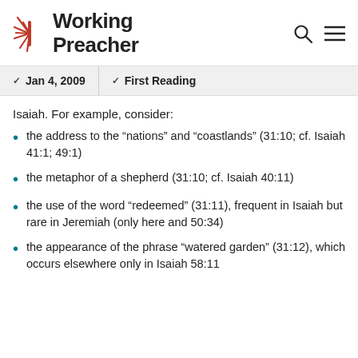[Figure (logo): Working Preacher logo with starburst icon in red and text in dark gray]
Jan 4, 2009 | First Reading
Isaiah. For example, consider:
the address to the “nations” and “coastlands” (31:10; cf. Isaiah 41:1; 49:1)
the metaphor of a shepherd (31:10; cf. Isaiah 40:11)
the use of the word “redeemed” (31:11), frequent in Isaiah but rare in Jeremiah (only here and 50:34)
the appearance of the phrase “watered garden” (31:12), which occurs elsewhere only in Isaiah 58:11